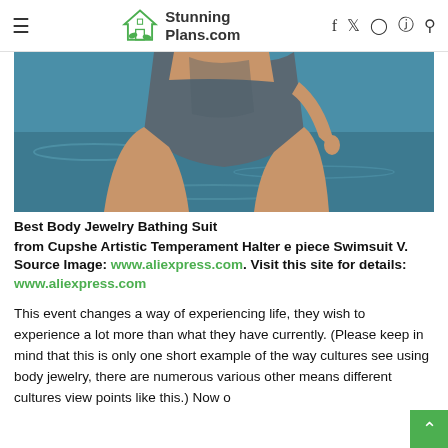StunningPlans.com
[Figure (photo): Close-up photo of lower torso of a person wearing a dark grey/blue swimsuit bottom, with a blurred blue water background.]
Best Body Jewelry Bathing Suit
from Cupshe Artistic Temperament Halter e piece Swimsuit V. Source Image: www.aliexpress.com. Visit this site for details: www.aliexpress.com
This event changes a way of experiencing life, they wish to experience a lot more than what they have currently. (Please keep in mind that this is only one short example of the way cultures see using body jewelry, there are numerous various other means different cultures view points like this.) Now o